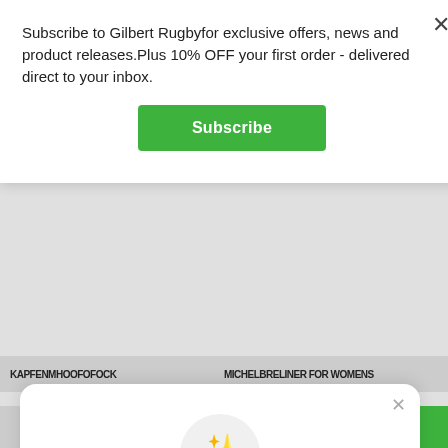Subscribe to Gilbert Rugbyfor exclusive offers, news and product releases.Plus 10% OFF your first order - delivered direct to your inbox.
[Figure (screenshot): Green Subscribe button]
[Figure (screenshot): Background page with partially visible navigation text in bold uppercase]
[Figure (screenshot): Second popup modal with sparkle icon, rewards/perks message, Sign up button, and Sign in link]
Unlock exclusive rewards and perks
Sign up or Log in
Already have an account? Sign in